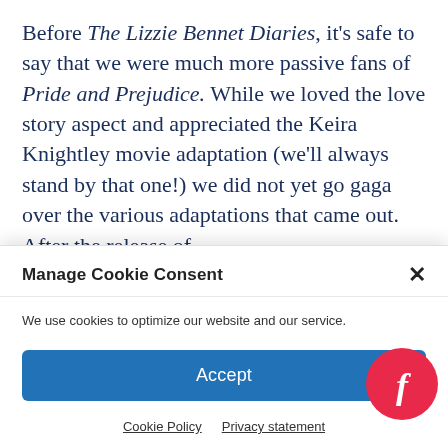Before The Lizzie Bennet Diaries, it's safe to say that we were much more passive fans of Pride and Prejudice. While we loved the love story aspect and appreciated the Keira Knightley movie adaptation (we'll always stand by that one!) we did not yet go gaga over the various adaptations that came out. After the release of
Manage Cookie Consent
We use cookies to optimize our website and our service.
Accept
Cookie Policy   Privacy statement